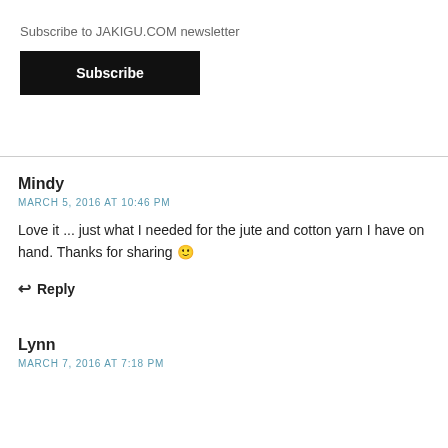Subscribe to JAKIGU.COM newsletter
Subscribe
×
Mindy
MARCH 5, 2016 AT 10:46 PM
Love it ... just what I needed for the jute and cotton yarn I have on hand. Thanks for sharing 🙂
Reply
Lynn
MARCH 7, 2016 AT 7:18 PM